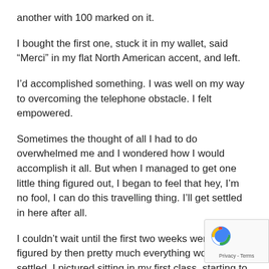another with 100 marked on it.
I bought the first one, stuck it in my wallet, said “Merci” in my flat North American accent, and left.
I’d accomplished something. I was well on my way to overcoming the telephone obstacle. I felt empowered.
Sometimes the thought of all I had to do overwhelmed me and I wondered how I would accomplish it all. But when I managed to get one little thing figured out, I began to feel that hey, I’m no fool, I can do this travelling thing. I’ll get settled in here after all.
I couldn’t wait until the first two weeks were over. I figured by then pretty much everything would be settled. I pictured sitting in my first class, starting to enjoy the experience, with the money all taken care of, a place to live, and maybe even a laundromat located